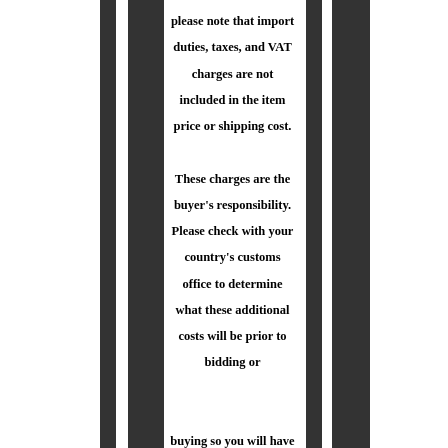please note that import duties, taxes, and VAT charges are not included in the item price or shipping cost. These charges are the buyer's responsibility. Please check with your country's customs office to determine what these additional costs will be prior to bidding or buying so you will have